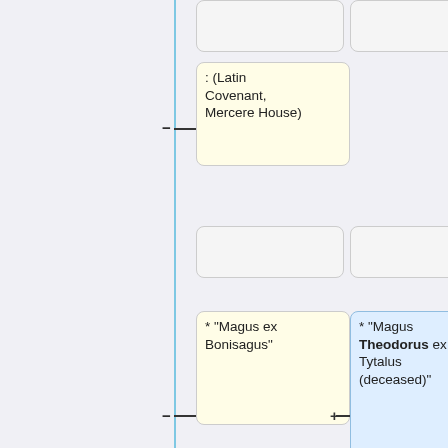[Figure (flowchart): A tree/outline diagram showing hierarchical nodes. Nodes include: '(Latin Covenant, Mercere House)', two empty nodes, '* "Magus ex Bonisagus"', '* "Magus Theodorus ex Tytalus (deceased)"' (highlighted blue), two more '* "Magus ex Bonisagus"', '* "Magus ex Guernicus"' (twice), '* "Magus ex Mercere"', and a partially visible '* Thalos ex'. Connected by horizontal lines from a vertical blue line on the left.]